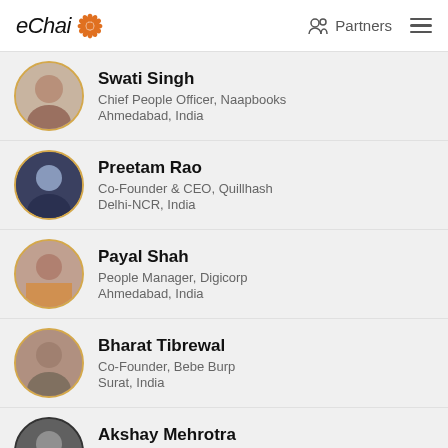eChai Partners
Swati Singh
Chief People Officer, Naapbooks
Ahmedabad, India
Preetam Rao
Co-Founder & CEO, Quillhash
Delhi-NCR, India
Payal Shah
People Manager, Digicorp
Ahmedabad, India
Bharat Tibrewal
Co-Founder, Bebe Burp
Surat, India
Akshay Mehrotra
Co Founder & CEO, EarlySalary
Pune, India
Saurabh Lahoti
Managing Partner, Pentathlon Ventures